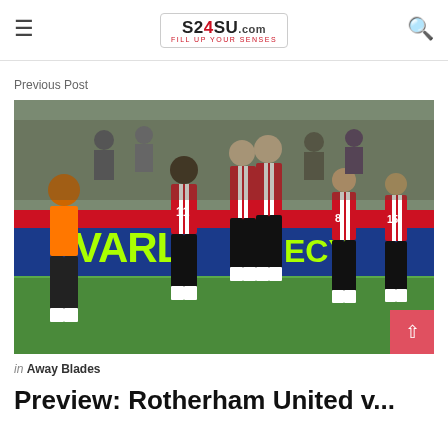S24SU.COM — FILL UP YOUR SENSES
Previous Post
[Figure (photo): Football players in red and white striped Sheffield United kits celebrating on the pitch, with an opposing player in orange kit looking dejected. A blue advertising hoarding with 'VARL' visible in the background.]
in Away Blades
Preview: Rotherham United v...